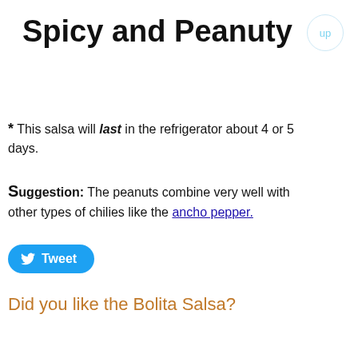Spicy and Peanuty
* This salsa will last in the refrigerator about 4 or 5 days.
Suggestion: The peanuts combine very well with other types of chilies like the ancho pepper.
[Figure (other): Twitter Tweet button]
Did you like the Bolita Salsa?